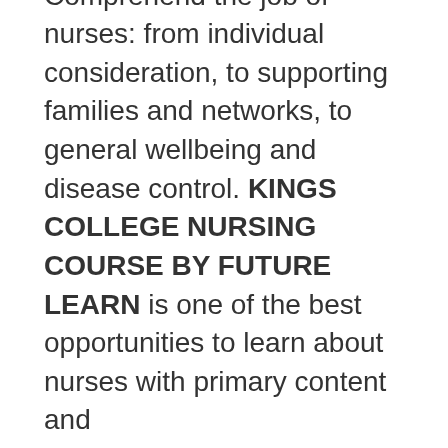Comprehend the job of nurses: from individual consideration, to supporting families and networks, to general wellbeing and disease control. KINGS COLLEGE NURSING COURSE BY FUTURE LEARN is one of the best opportunities to learn about nurses with primary content and...